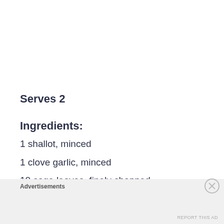Serves 2
Ingredients:
1 shallot, minced
1 clove garlic, minced
10 sage leaves, finely chopped
1/4 bunch chives, finely chopped
Advertisements